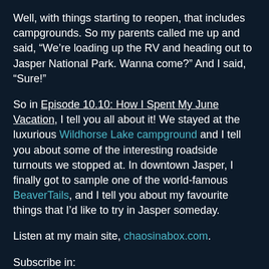Well, with things starting to reopen, that includes campgrounds. So my parents called me up and said, “We’re loading up the RV and heading out to Jasper National Park. Wanna come?” And I said, “Sure!”
So in Episode 10.10: How I Spent My June Vacation, I tell you all about it! We stayed at the luxurious Wildhorse Lake campground and I tell you about some of the interesting roadside turnouts we stopped at. In downtown Jasper, I finally got to sample one of the world-famous BeaverTails, and I tell you about my favourite things that I’d like to try in Jasper someday.
Listen at my main site, chaosinabox.com.
Subscribe in:
Apple Podcasts
Spotify
And now in Google Play!